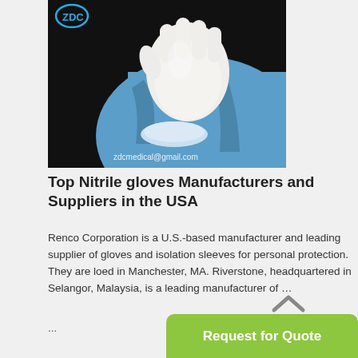[Figure (photo): Medical professional in blue scrubs wearing a white nitrile glove raised against black background, with watermark text 'zdcmedical@gmail.com']
Top Nitrile gloves Manufacturers and Suppliers in the USA
Renco Corporation is a U.S.-based manufacturer and leading supplier of gloves and isolation sleeves for personal protection. They are loed in Manchester, MA. Riverstone, headquartered in Selangor, Malaysia, is a leading manufacturer of …
...